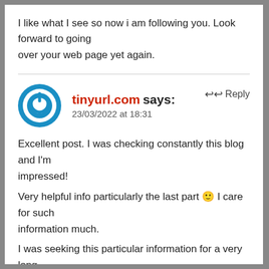I like what I see so now i am following you. Look forward to going over your web page yet again.
tinyurl.com says:
23/03/2022 at 18:31
Excellent post. I was checking constantly this blog and I'm impressed!
Very helpful info particularly the last part 🙂 I care for such information much.
I was seeking this particular information for a very long time.
Thank you and good luck.